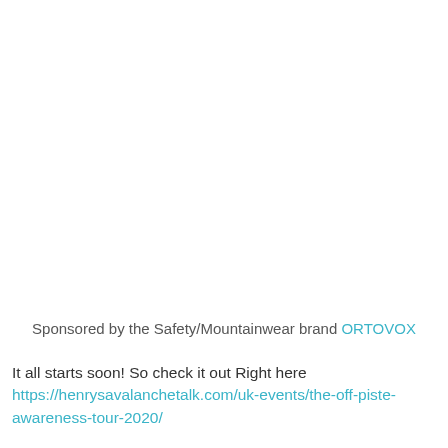Sponsored by the Safety/Mountainwear brand ORTOVOX
It all starts soon! So check it out Right here https://henrysavalanchetalk.com/uk-events/the-off-piste-awareness-tour-2020/